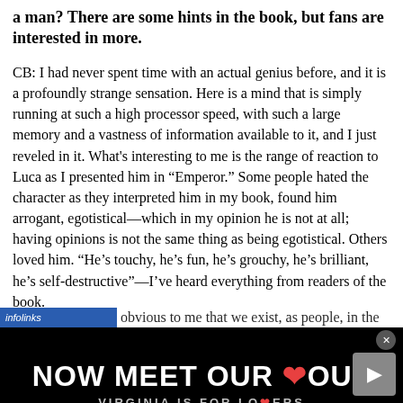a man? There are some hints in the book, but fans are interested in more.
CB: I had never spent time with an actual genius before, and it is a profoundly strange sensation. Here is a mind that is simply running at such a high processor speed, with such a large memory and a vastness of information available to it, and I just reveled in it. What's interesting to me is the range of reaction to Luca as I presented him in “Emperor.” Some people hated the character as they interpreted him in my book, found him arrogant, egotistical—which in my opinion he is not at all; having opinions is not the same thing as being egotistical. Others loved him. “He’s touchy, he’s fun, he’s grouchy, he’s brilliant, he’s self-destructive”—I’ve heard everything from readers of the book.
obvious to me that we exist, as people, in the
[Figure (other): infolinks advertisement banner: 'NOW MEET OUR SOUL - VIRGINIA IS FOR LOVERS' on black background with red heart symbols]